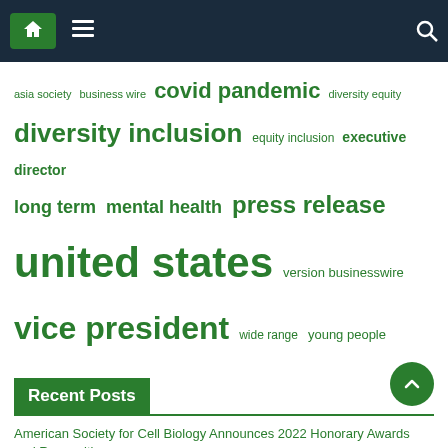Navigation bar with home icon, menu icon, and search icon
[Figure (infographic): Tag cloud with green-colored tags of varying sizes representing topics: asia society, business wire, covid pandemic, diversity equity, diversity inclusion, equity inclusion, executive director, long term, mental health, press release, united states, version businesswire, vice president, wide range, young people]
Recent Posts
American Society for Cell Biology Announces 2022 Honorary Awards and Recognition
New direction for the old company in Kelso
Register today for the annual meeting of the Society of Cosmetic Chemists